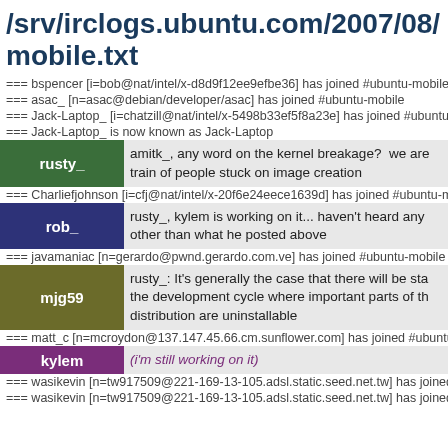/srv/irclogs.ubuntu.com/2007/08/mobile.txt
=== bspencer [i=bob@nat/intel/x-d8d9f12ee9efbe36] has joined #ubuntu-mobile
=== asac_ [n=asac@debian/developer/asac] has joined #ubuntu-mobile
=== Jack-Laptop_ [i=chatzill@nat/intel/x-5498b33ef5f8a23e] has joined #ubuntu
=== Jack-Laptop_ is now known as Jack-Laptop
rusty_: amitk_, any word on the kernel breakage?  we are train of people stuck on image creation
=== Charliefjohnson [i=cfj@nat/intel/x-20f6e24eece1639d] has joined #ubuntu-m
rob_: rusty_, kylem is working on it... haven't heard any other than what he posted above
=== javamaniac [n=gerardo@pwnd.gerardo.com.ve] has joined #ubuntu-mobile
mjg59: rusty_: It's generally the case that there will be sta the development cycle where important parts of th distribution are uninstallable
=== matt_c [n=mcroydon@137.147.45.66.cm.sunflower.com] has joined #ubuntu
kylem: (i'm still working on it)
=== wasikevin [n=tw917509@221-169-13-105.adsl.static.seed.net.tw] has joined
=== wasikevin [n=tw917509@221-169-13-105.adsl.static.seed.net.tw] has joined